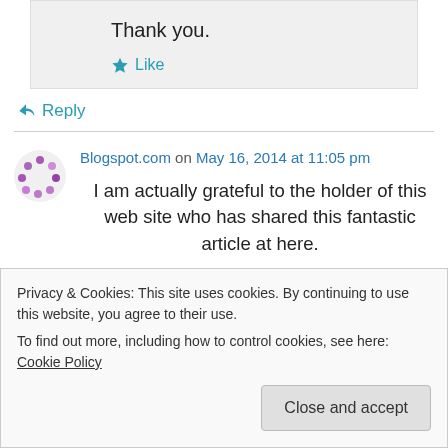Thank you.
Like
Reply
Blogspot.com on May 16, 2014 at 11:05 pm
I am actually grateful to the holder of this web site who has shared this fantastic article at here.
Privacy & Cookies: This site uses cookies. By continuing to use this website, you agree to their use.
To find out more, including how to control cookies, see here: Cookie Policy
Close and accept